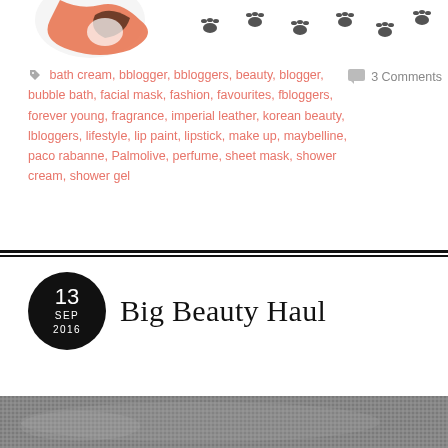[Figure (illustration): Partial view of a decorative blog header with an illustrated fox/animal and paw print pattern on white background]
bath cream, bblogger, bbloggers, beauty, blogger, bubble bath, facial mask, fashion, favourites, fbloggers, forever young, fragrance, imperial leather, korean beauty, lbloggers, lifestyle, lip paint, lipstick, make up, maybelline, paco rabanne, Palmolive, perfume, sheet mask, shower cream, shower gel
3 Comments
Big Beauty Haul
[Figure (photo): Partial bottom thumbnail image of a beauty haul photo, shown in grayscale/dark tones]